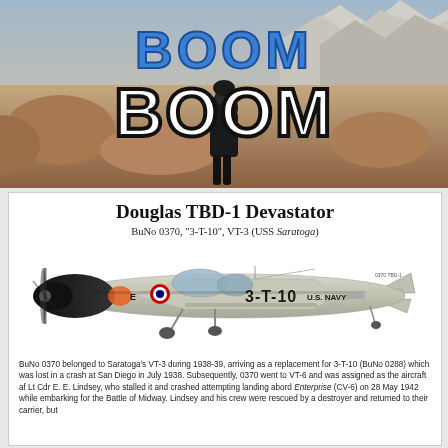[Figure (illustration): Banner image showing 'BOOM BOOM' text overlay on a desert/mountain landscape background with a person standing in center. 'BOOM' appears twice in large lettering — first in blue outlined letters, second in large black-outlined white letters.]
Douglas TBD-1 Devastator
BuNo 0370, "3-T-10", VT-3 (USS Saratoga)
[Figure (illustration): Side profile illustration of Douglas TBD-1 Devastator aircraft marked '3-T-10 U.S. NAVY' in silver/grey livery with black engine cowling and US Navy markings.]
BuNo 0370 belonged to Saratoga's VT-3 during 1938-39, arriving as a replacement for 3-T-10 (BuNo 0288) which was lost in a crash at San Diego in July 1938. Subsequently, 0370 went to VT-6 and was assigned as the aircraft af Lt Cdr E. E. Lindsey, who stalled it and crashed attempting landing abord Enterprise (CV-6) on 28 May 1942 while embarking for the Battle of Midway. Lindsey and his crew were rescued by a destroyer and returned to their carrier, but